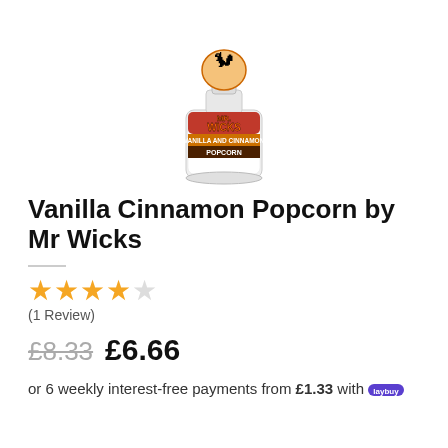[Figure (photo): Product photo of Mr. Wicks Vanilla Cinnamon Popcorn e-liquid bottle with cartoon character label, shown centered on white background]
Vanilla Cinnamon Popcorn by Mr Wicks
★★★★☆
(1 Review)
£8.33  £6.66
or 6 weekly interest-free payments from £1.33 with